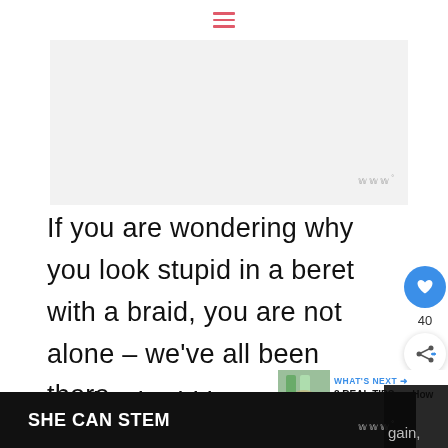≡
[Figure (photo): Light gray image placeholder area]
If you are wondering why you look stupid in a beret with a braid, you are not alone – we've all been there.
Styling braid is never easy –
especially when we are no longer
SHE CAN STEM